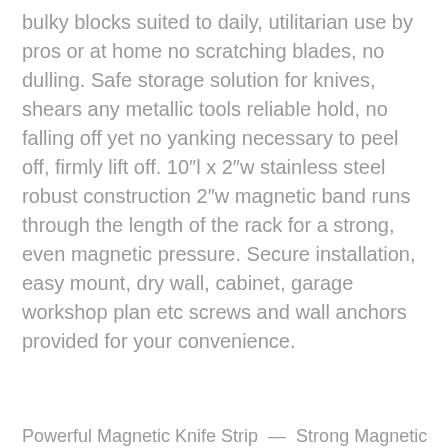bulky blocks suited to daily, utilitarian use by pros or at home no scratching blades, no dulling. Safe storage solution for knives, shears any metallic tools reliable hold, no falling off yet no yanking necessary to peel off, firmly lift off. 10″l x 2″w stainless steel robust construction 2″w magnetic band runs through the length of the rack for a strong, even magnetic pressure. Secure installation, easy mount, dry wall, cabinet, garage workshop plan etc screws and wall anchors provided for your convenience.
Powerful Magnetic Knife Strip — Strong Magnetic...